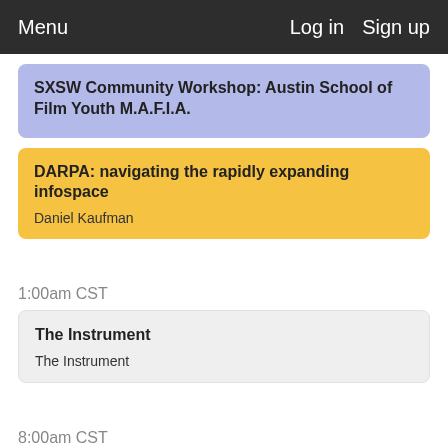Menu    Log in   Sign up
SXSW Community Workshop: Austin School of Film Youth M.A.F.I.A.
DARPA: navigating the rapidly expanding infospace
Daniel Kaufman
1:00am CST
The Instrument
The Instrument
8:00am CST
Armour 3.9 Community Run (MapMyFitnesss + Under Armour)